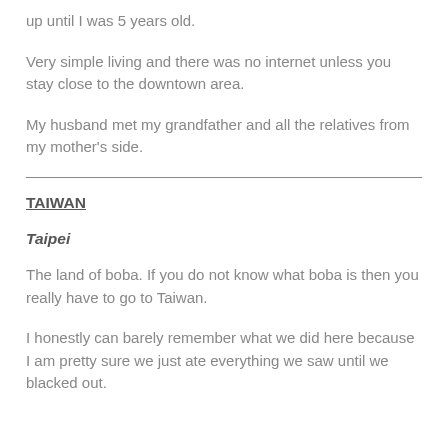up until I was 5 years old.
Very simple living and there was no internet unless you stay close to the downtown area.
My husband met my grandfather and all the relatives from my mother’s side.
TAIWAN
Taipei
The land of boba. If you do not know what boba is then you really have to go to Taiwan.
I honestly can barely remember what we did here because I am pretty sure we just ate everything we saw until we blacked out.